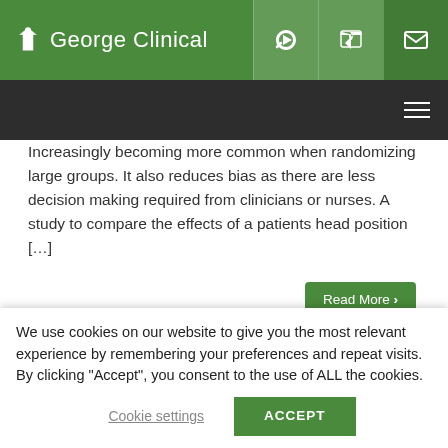George Clinical
Increasingly becoming more common when randomizing large groups. It also reduces bias as there are less decision making required from clinicians or nurses. A study to compare the effects of a patients head position […]
Read More ›
December 9th, 2016
We use cookies on our website to give you the most relevant experience by remembering your preferences and repeat visits. By clicking "Accept", you consent to the use of ALL the cookies.
Cookie settings
ACCEPT